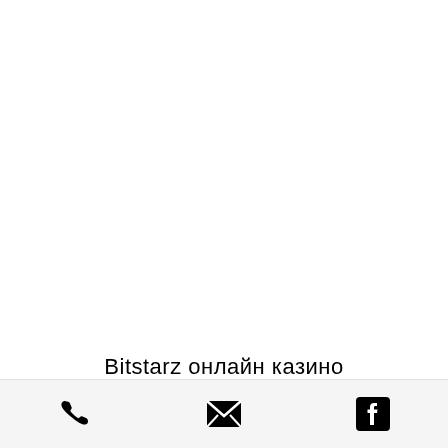Bitstarz онлайн казино
[Figure (other): Footer bar with phone icon, email/envelope icon, and Facebook icon on a light grey background]